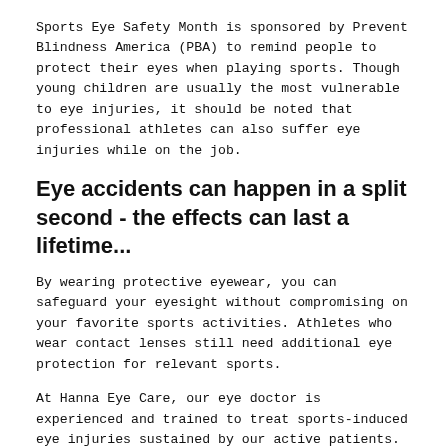Sports Eye Safety Month is sponsored by Prevent Blindness America (PBA) to remind people to protect their eyes when playing sports. Though young children are usually the most vulnerable to eye injuries, it should be noted that professional athletes can also suffer eye injuries while on the job.
Eye accidents can happen in a split second - the effects can last a lifetime...
By wearing protective eyewear, you can safeguard your eyesight without compromising on your favorite sports activities. Athletes who wear contact lenses still need additional eye protection for relevant sports.
At Hanna Eye Care, our eye doctor is experienced and trained to treat sports-induced eye injuries sustained by our active patients. Dr. Hanna and our dedicated staff are committed to providing the most comprehensive eye care to help get you back on the field again. Furthermore, we provide consultations on a wide array of protective eyewear for all your sporting needs.